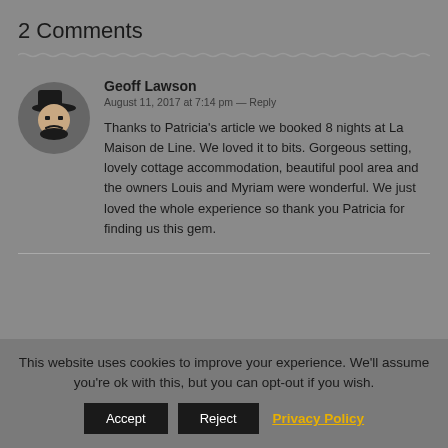2 Comments
Geoff Lawson
August 11, 2017 at 7:14 pm — Reply

Thanks to Patricia's article we booked 8 nights at La Maison de Line. We loved it to bits. Gorgeous setting, lovely cottage accommodation, beautiful pool area and the owners Louis and Myriam were wonderful. We just loved the whole experience so thank you Patricia for finding us this gem.
This website uses cookies to improve your experience. We'll assume you're ok with this, but you can opt-out if you wish.